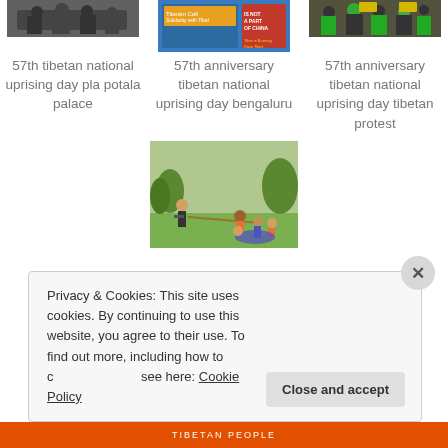[Figure (photo): Thumbnail image top-left: group of people, protest or gathering scene]
57th tibetan national uprising day pla potala palace
[Figure (photo): Thumbnail image top-center: protest sign reading 'Tibet is not a part of China', Tibet is Burning, Save Tibet]
57th anniversary tibetan national uprising day bengaluru
[Figure (photo): Thumbnail image top-right: group with yellow/green flags]
57th anniversary tibetan national uprising day tibetan protest
[Figure (photo): Center-bottom image: people playing tug of war on grass]
Privacy & Cookies: This site uses cookies. By continuing to use this website, you agree to their use. To find out more, including how to control cookies, see here: Cookie Policy
TIBETAN PEOPLE